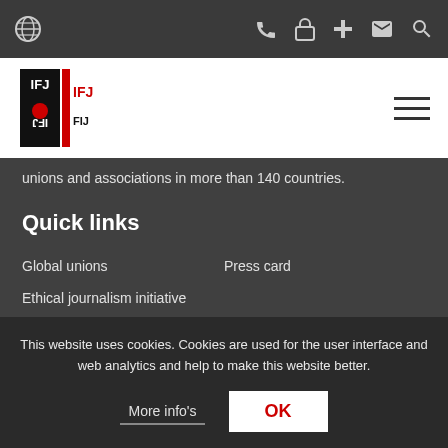IFJ website navigation bar with globe, phone, lock, plus, email, and search icons
[Figure (logo): IFJ / FIJ logo in black and red]
unions and associations in more than 140 countries.
Quick links
Global unions
Press card
Ethical journalism initiative
Subscribe to IFJ News
This website uses cookies. Cookies are used for the user interface and web analytics and help to make this website better.
More info's
OK